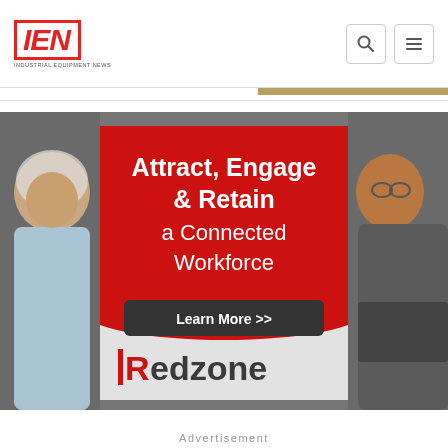[Figure (logo): IEN - Industrial Equipment News logo in red italic with border]
[Figure (infographic): Redzone advertisement banner: Attract, Engage & Retain a Connected Workforce. Learn More >>. Redzone logo. Features two manufacturing workers on gray background.]
Advertisement